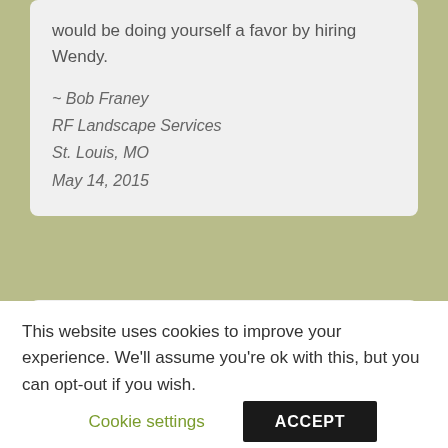would be doing yourself a favor by hiring Wendy.
~ Bob Franey
RF Landscape Services
St. Louis, MO
May 14, 2015
Provides a steady stream of views and SEO juice...
“Wendy provides WeedPro and our blog
This website uses cookies to improve your experience. We’ll assume you’re ok with this, but you can opt-out if you wish.
Cookie settings
ACCEPT